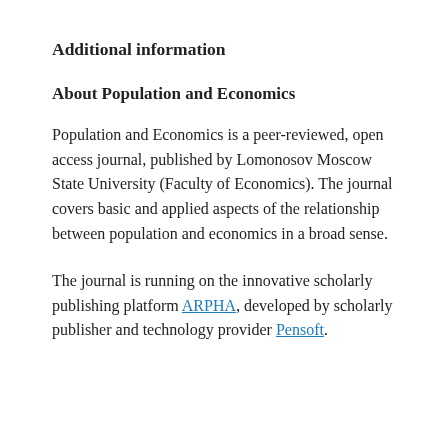Additional information
About Population and Economics
Population and Economics is a peer-reviewed, open access journal, published by Lomonosov Moscow State University (Faculty of Economics). The journal covers basic and applied aspects of the relationship between population and economics in a broad sense.
The journal is running on the innovative scholarly publishing platform ARPHA, developed by scholarly publisher and technology provider Pensoft.